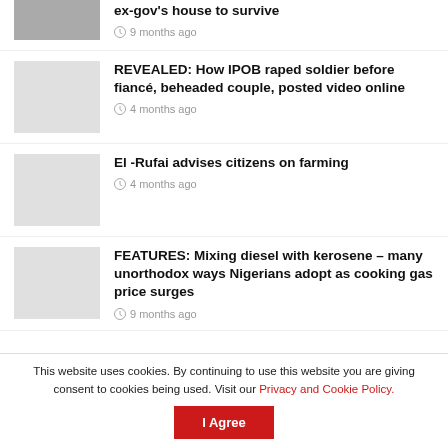ex-gov's house to survive
9 months ago
REVEALED: How IPOB raped soldier before fiancé, beheaded couple, posted video online
4 months ago
El -Rufai advises citizens on farming
4 months ago
FEATURES: Mixing diesel with kerosene – many unorthodox ways Nigerians adopt as cooking gas price surges
9 months ago
This website uses cookies. By continuing to use this website you are giving consent to cookies being used. Visit our Privacy and Cookie Policy.